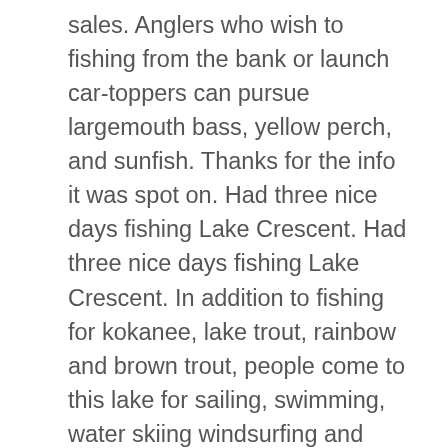sales. Anglers who wish to fishing from the bank or launch car-toppers can pursue largemouth bass, yellow perch, and sunfish. Thanks for the info it was spot on. Had three nice days fishing Lake Crescent. Had three nice days fishing Lake Crescent. In addition to fishing for kokanee, lake trout, rainbow and brown trout, people come to this lake for sailing, swimming, water skiing windsurfing and camping. Crescent Lake – Southington (56 acres) Crescent Lake (Plainville Reservoir) is on the Plainville-Southington town line, and can be accessed from Ledge Rd. The lake averages about 10 feet deep, with some sustained areas of 12-14 feet along the lower West shoreline and a deep 20-30 foot channel between Crescent and, at its lower end, smaller Dead Lake. Lake Crescent is one of the deepest lakes in the United States. Rowboats are available